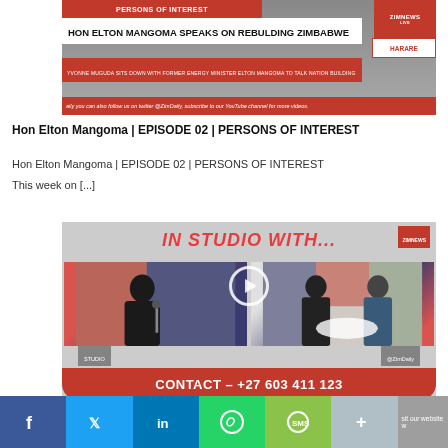[Figure (screenshot): Video thumbnail showing 'HON ELTON MANGOMA SPEAKS ON REBULDING ZIMBABWE' with red breaking news banner and ZimNews logo]
Hon Elton Mangoma | EPISODE 02 | PERSONS OF INTEREST
Hon Elton Mangoma | EPISODE 02 | PERSONS OF INTEREST
This week on [...]
[Figure (screenshot): Video thumbnail showing 'IN STUDIO WITH...' ZimDaily studio show with two panels of guests, play button overlay, and contact bar CONTACT – +27 603 411 123]
Social share bar: Facebook, Twitter, LinkedIn, WhatsApp, SMS, More | visit our website w